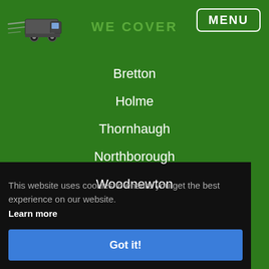[Figure (logo): Delivery truck logo with motion lines on green background]
MENU
WE COVER
Bretton
Holme
Thornhaugh
Northborough
Woodnewton
This website uses cookies to ensure you get the best experience on our website. Learn more
Got it!